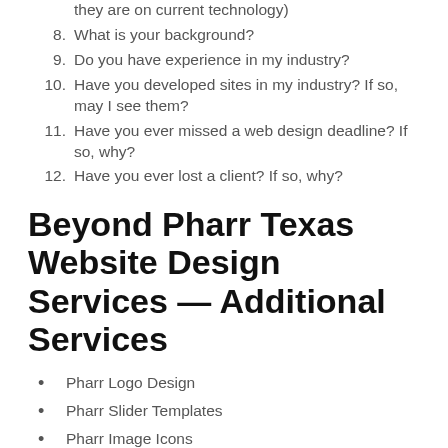they are on current technology)
8. What is your background?
9. Do you have experience in my industry?
10. Have you developed sites in my industry? If so, may I see them?
11. Have you ever missed a web design deadline? If so, why?
12. Have you ever lost a client? If so, why?
Beyond Pharr Texas Website Design Services — Additional Services
Pharr Logo Design
Pharr Slider Templates
Pharr Image Icons
Pharr Video Editing and Starter Images